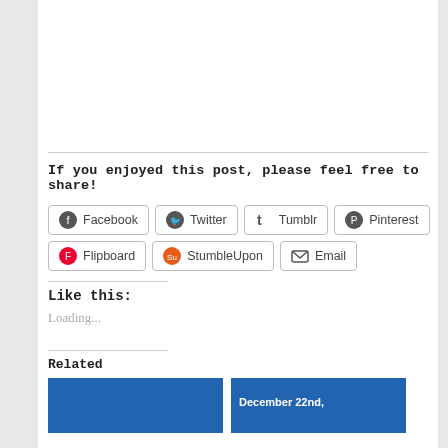If you enjoyed this post, please feel free to share!
Facebook  Twitter  Tumblr  Pinterest  Flipboard  StumbleUpon  Email
Like this:
Loading...
Related